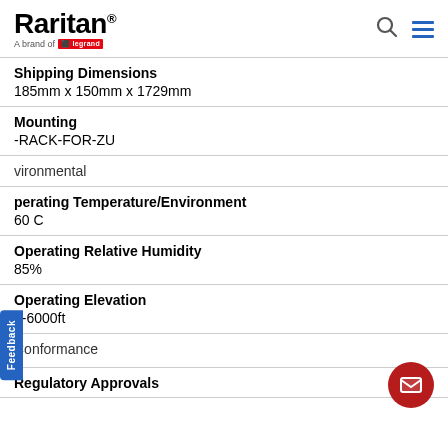Raritan — A brand of Legrand
Shipping Dimensions
185mm x 150mm x 1729mm
Mounting
-RACK-FOR-ZU
Environmental
Operating Temperature/Environment
60 C
Operating Relative Humidity
85%
Operating Elevation
0-6000ft
Conformance
Regulatory Approvals